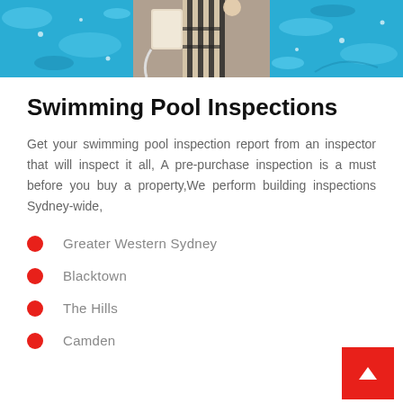[Figure (photo): Three-panel hero image of swimming pool scenes: blue water on left, person at pool gate/fence in center, blue pool water on right]
Swimming Pool Inspections
Get your swimming pool inspection report from an inspector that will inspect it all, A pre-purchase inspection is a must before you buy a property,We perform building inspections Sydney-wide,
Greater Western Sydney
Blacktown
The Hills
Camden